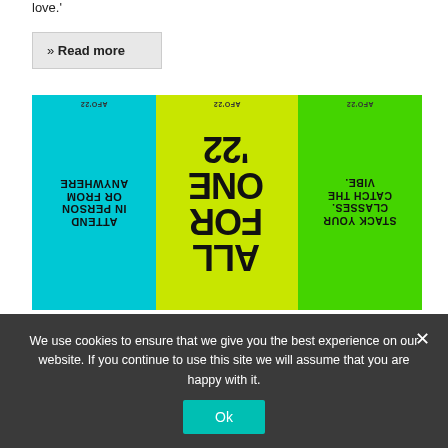love.'
» Read more
[Figure (photo): Peloton All For One '22 music festival promotional banner with mirrored/reversed text panels in cyan, yellow-green, and green colors. Text reads 'ATTEND IN PERSON OR FROM ANYWHERE', 'ALL FOR ONE '22', 'STACK YOUR CLASSES. CATCH THE VIBE.' — all displayed upside down/mirrored.]
Peloton Reveals Star-Studded Lineup For All For One Music Festival
We use cookies to ensure that we give you the best experience on our website. If you continue to use this site we will assume that you are happy with it.
Ok